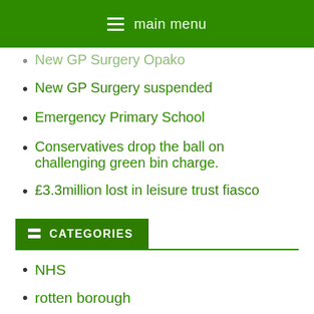main menu
New GP Surgery Opako
New GP Surgery suspended
Emergency Primary School
Conservatives drop the ball on challenging green bin charge.
£3.3million lost in leisure trust fiasco
CATEGORIES
NHS
rotten borough
schools
Uncategorized